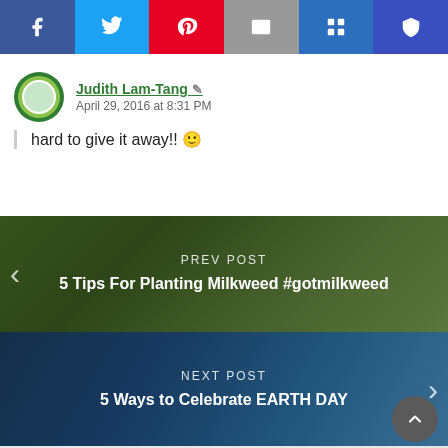[Figure (screenshot): Social media share toolbar with Facebook, Twitter, Pinterest, Email, Bloglovin, and another share button icons]
Judith Lam-Tang
April 29, 2016 at 8:31 PM
hard to give it away!! 🙂
[Figure (screenshot): Navigation banner for previous post: PREV POST - 5 Tips For Planting Milkweed #gotmilkweed with green blurred background]
[Figure (screenshot): Navigation banner for next post: NEXT POST - 5 Ways to Celebrate EARTH DAY with blue Earth Day blurred background]
[Figure (other): Dark green header bar and white content box at bottom of page with scroll-to-top button]